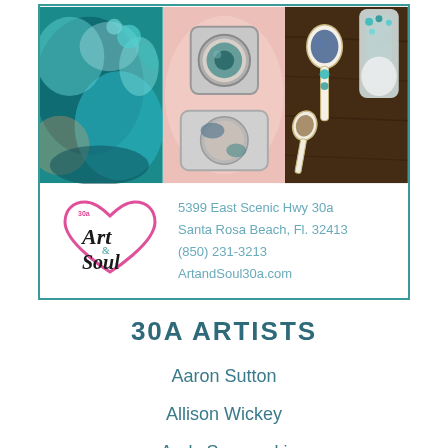[Figure (photo): Collage of three photos: teal/blue abstract fluid art, pink/blue makeup palette, and decorative spoons with a bottle on dark wood background]
5399 East Scenic Hwy 30a
Santa Rosa Beach, Fl. 32413
(850) 231-3213
ArtandSoul30a.com
30A ARTISTS
Aaron Sutton
Allison Wickey
Andy Saczynski
Bett Appel
Bette Cook